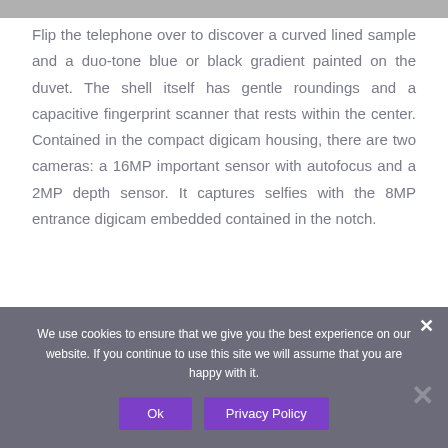Flip the telephone over to discover a curved lined sample and a duo-tone blue or black gradient painted on the duvet. The shell itself has gentle roundings and a capacitive fingerprint scanner that rests within the center. Contained in the compact digicam housing, there are two cameras: a 16MP important sensor with autofocus and a 2MP depth sensor. It captures selfies with the 8MP entrance digicam embedded contained in the notch.
We use cookies to ensure that we give you the best experience on our website. If you continue to use this site we will assume that you are happy with it.